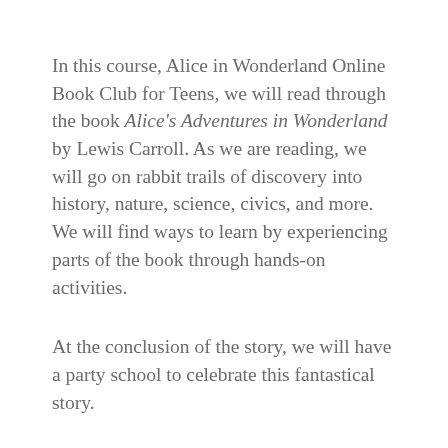In this course, Alice in Wonderland Online Book Club for Teens, we will read through the book Alice's Adventures in Wonderland by Lewis Carroll. As we are reading, we will go on rabbit trails of discovery into history, nature, science, civics, and more. We will find ways to learn by experiencing parts of the book through hands-on activities.
At the conclusion of the story, we will have a party school to celebrate this fantastical story.
This online literary guide has everything